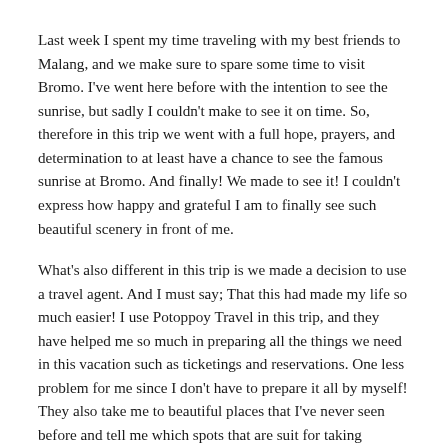Last week I spent my time traveling with my best friends to Malang, and we make sure to spare some time to visit Bromo. I've went here before with the intention to see the sunrise, but sadly I couldn't make to see it on time. So, therefore in this trip we went with a full hope, prayers, and determination to at least have a chance to see the famous sunrise at Bromo. And finally! We made to see it! I couldn't express how happy and grateful I am to finally see such beautiful scenery in front of me.
What's also different in this trip is we made a decision to use a travel agent. And I must say; That this had made my life so much easier! I use Potoppoy Travel in this trip, and they have helped me so much in preparing all the things we need in this vacation such as ticketings and reservations. One less problem for me since I don't have to prepare it all by myself! They also take me to beautiful places that I've never seen before and tell me which spots that are suit for taking beautiful pictures.